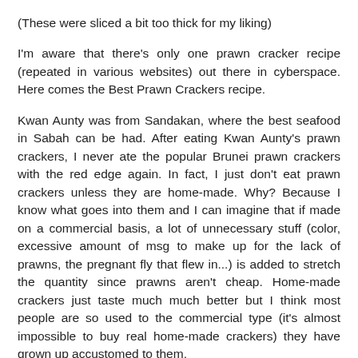(These were sliced a bit too thick for my liking)
I'm aware that there's only one prawn cracker recipe (repeated in various websites) out there in cyberspace. Here comes the Best Prawn Crackers recipe.
Kwan Aunty was from Sandakan, where the best seafood in Sabah can be had. After eating Kwan Aunty's prawn crackers, I never ate the popular Brunei prawn crackers with the red edge again. In fact, I just don't eat prawn crackers unless they are home-made. Why? Because I know what goes into them and I can imagine that if made on a commercial basis, a lot of unnecessary stuff (color, excessive amount of msg to make up for the lack of prawns, the pregnant fly that flew in...) is added to stretch the quantity since prawns aren't cheap. Home-made crackers just taste much much better but I think most people are so used to the commercial type (it's almost impossible to buy real home-made crackers) they have grown up accustomed to them.
Kwan Aunty's prawn crackers are made on a 1:1 ratio of prawns to tapioca flour and were the best I've ever tasted.